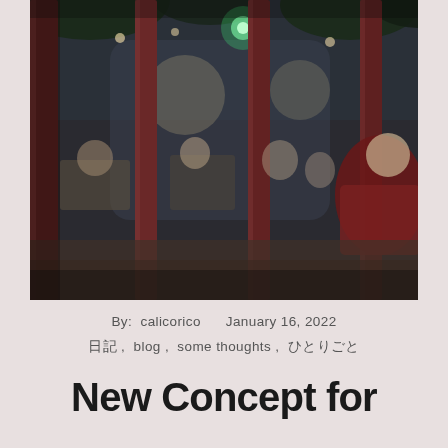[Figure (photo): Outdoor restaurant or plaza scene at dusk/evening. Dark red/maroon columns in foreground, people seated at tables in background, string lights and trees visible, blurred bokeh effect.]
By:  calicorico      January 16, 2022
日記 ,  blog ,  some thoughts ,  ひとりごと
New Concept for